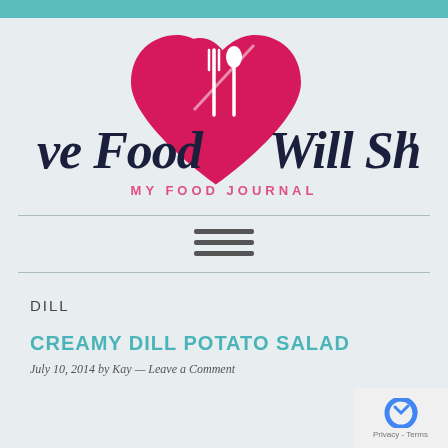[Figure (logo): Food blog logo showing heart shape with fork and spoon, text 've Food Will Sha' in dark handwritten style, tagline MY FOOD JOURNAL in pink]
[Figure (other): Hamburger menu icon with three horizontal lines]
DILL
CREAMY DILL POTATO SALAD
July 10, 2014 by Kay — Leave a Comment